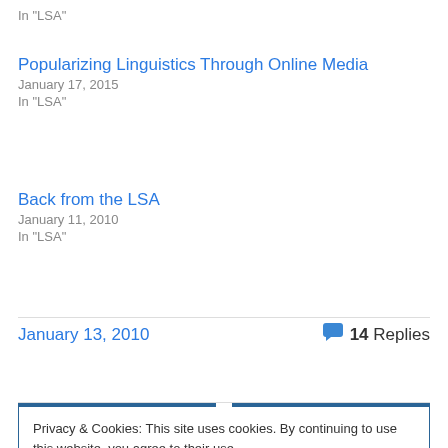In "LSA"
Popularizing Linguistics Through Online Media
January 17, 2015
In "LSA"
Back from the LSA
January 11, 2010
In "LSA"
January 13, 2010
14 Replies
Privacy & Cookies: This site uses cookies. By continuing to use this website, you agree to their use. To find out more, including how to control cookies, see here: Cookie Policy